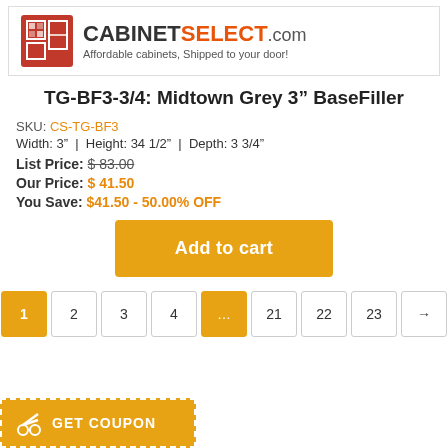[Figure (logo): CabinetSelect.com logo with red cabinet icon and tagline 'Affordable cabinets, Shipped to your door!']
TG-BF3-3/4: Midtown Grey 3" BaseFiller
SKU: CS-TG-BF3
Width: 3" | Height: 34 1/2" | Depth: 3 3/4"
List Price: $ 83.00
Our Price: $ 41.50
You Save: $41.50 - 50.00% OFF
Add to cart
Pagination: 1 2 3 4 ... 21 22 23 →
GET COUPON